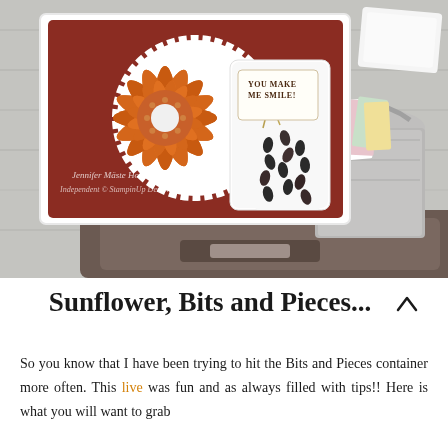[Figure (photo): A handmade greeting card featuring an orange sunflower die-cut design on a dark red/burgundy background, with a 'YOU MAKE ME SMILE!' sentiment tag, white scalloped layers, a spotted patterned paper element, and a twine bow. The card is displayed propped up on a small brown stand/scale, with a galvanized metal bucket holding craft supplies visible in the background. The workspace has a gray wood-grain background.]
Sunflower, Bits and Pieces...
So you know that I have been trying to hit the Bits and Pieces container more often. This live was fun and as always filled with tips!! Here is what you will want to grab